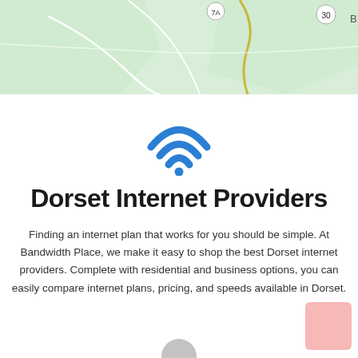[Figure (map): Partial map view showing roads and terrain near Dorset area, light green background with road outlines and route markers including number 30]
[Figure (illustration): Blue WiFi signal icon with three arcs and a dot]
Dorset Internet Providers
Finding an internet plan that works for you should be simple. At Bandwidth Place, we make it easy to shop the best Dorset internet providers. Complete with residential and business options, you can easily compare internet plans, pricing, and speeds available in Dorset.